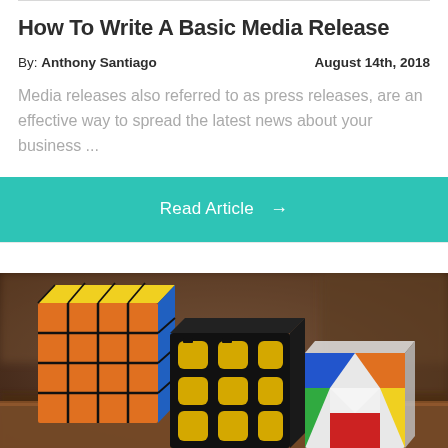How To Write A Basic Media Release
By: Anthony Santiago     August 14th, 2018
Media releases also referred to as press releases, are an effective way to spread the latest news about your business ...
Read Article →
[Figure (photo): A photograph of multiple Rubik's cubes of various types and sizes arranged on a wooden surface, with a blurred background suggesting an indoor setting.]